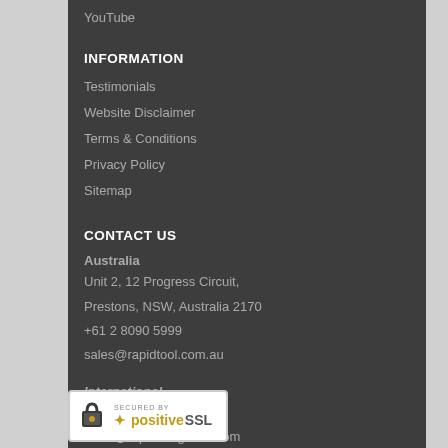YouTube
INFORMATION
Testimonials
Website Disclaimer
Terms & Conditions
Privacy Policy
Sitemap
CONTACT US
Australia
Unit 2, 12 Progress Circuit,
Prestons, NSW, Australia 2170
+61 2 8090 5999
sales@rapidtool.com.au
International
+61 8 6558 1842
sales@rapidtoolglobal.com
[Figure (logo): PositiveSSL secured badge with padlock icon]